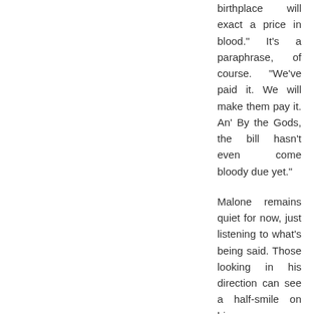birthplace will exact a price in blood." It's a paraphrase, of course. "We've paid it. We will make them pay it. An' By the Gods, the bill hasn't even come bloody due yet."
Malone remains quiet for now, just listening to what's being said. Those looking in his direction can see a half-smile on his